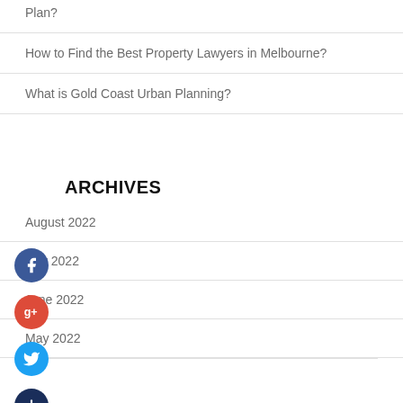Plan?
How to Find the Best Property Lawyers in Melbourne?
What is Gold Coast Urban Planning?
ARCHIVES
August 2022
July 2022
June 2022
May 2022